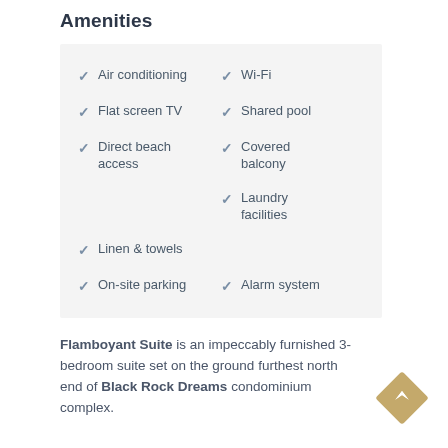Amenities
Air conditioning
Wi-Fi
Flat screen TV
Shared pool
Direct beach access
Covered balcony
Linen & towels
Laundry facilities
On-site parking
Alarm system
Flamboyant Suite is an impeccably furnished 3-bedroom suite set on the ground furthest north end of Black Rock Dreams condominium complex.